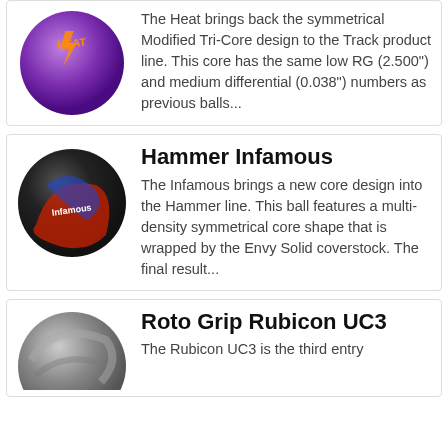[Figure (photo): Purple bowling ball labeled Heat (Track brand) with orange/gold Heat logo]
The Heat brings back the symmetrical Modified Tri-Core design to the Track product line. This core has the same low RG (2.500") and medium differential (0.038") numbers as previous balls...
Hammer Infamous
[Figure (photo): Black, red, and blue bowling ball labeled Infamous (Hammer brand)]
The Infamous brings a new core design into the Hammer line. This ball features a multi-density symmetrical core shape that is wrapped by the Envy Solid coverstock. The final result...
Roto Grip Rubicon UC3
[Figure (photo): Gray/silver bowling ball labeled Rubicon UC3 (Roto Grip brand)]
The Rubicon UC3 is the third entry